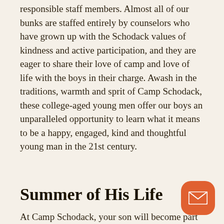responsible staff members. Almost all of our bunks are staffed entirely by counselors who have grown up with the Schodack values of kindness and active participation, and they are eager to share their love of camp and love of life with the boys in their charge. Awash in the traditions, warmth and sprit of Camp Schodack, these college-aged young men offer our boys an unparalleled opportunity to learn what it means to be a happy, engaged, kind and thoughtful young man in the 21st century.
Summer of His Life
At Camp Schodack, your son will become part of a tradition of happy campers, well cared for by carefully trained, experienced counselors, and surrounded by friendly and inviting boys of all. We strategically create each group of boys to be a kind, cohesive group, eager to participate in all it offers, and we create each bunk schedule to allow
[Figure (other): Orange rounded square email/contact button in the bottom-right corner]